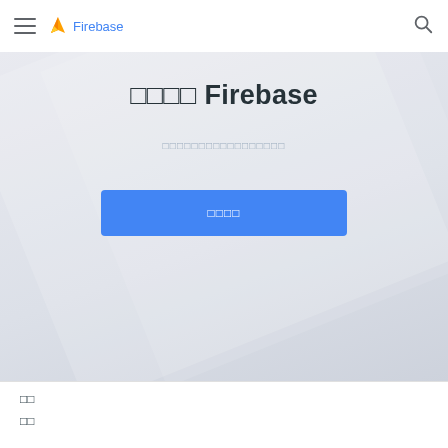Firebase
□□□□ Firebase
□□□□□□□□□□□□□□□□□
□□□□
□□
□□